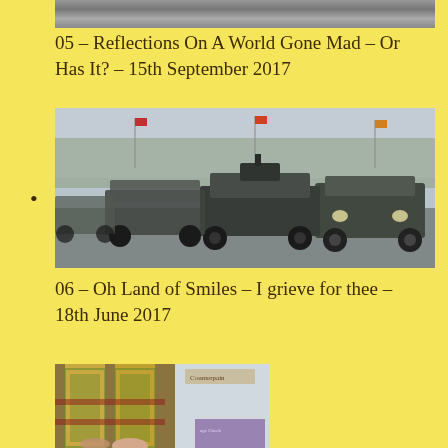[Figure (photo): Partial top image, partially cropped building or structure, grey tones]
05 – Reflections On A World Gone Mad – Or Has It? – 15th September 2017
[Figure (photo): Military vehicles including armored tanks and a Humvee driving in a parade formation on a wide road, with flags and trees in the background]
06 – Oh Land of Smiles – I grieve for thee – 18th June 2017
[Figure (photo): Traditional Thai ornate costume/decoration with green and gold pattern, with people visible in the background at what appears to be an airport or shopping area]